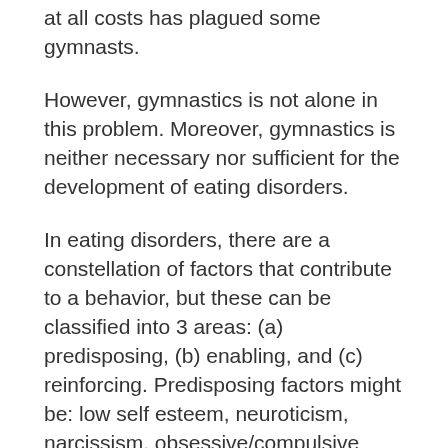at all costs has plagued some gymnasts.
However, gymnastics is not alone in this problem. Moreover, gymnastics is neither necessary nor sufficient for the development of eating disorders.
In eating disorders, there are a constellation of factors that contribute to a behavior, but these can be classified into 3 areas: (a) predisposing, (b) enabling, and (c) reinforcing. Predisposing factors might be: low self esteem, neuroticism, narcissism, obsessive/compulsive behavior, depression, and a predominantly external locus of control.
These do not meet the criteria for causation,